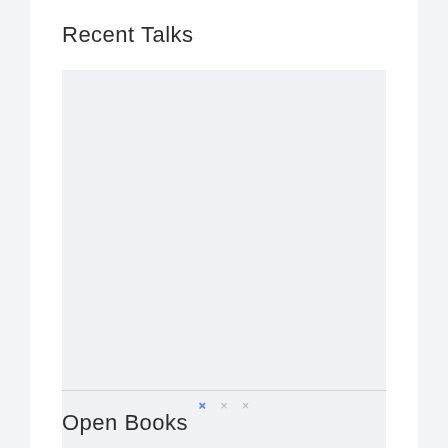Recent Talks
[Figure (other): Empty carousel or slide area with pagination dots showing a blue active dot and two grey inactive dots]
Open Books